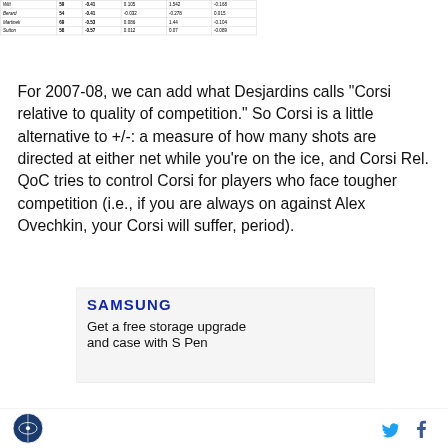|  |  |  |  |  |  |
| --- | --- | --- | --- | --- | --- |
| Witt | 59 | -0.41 | 0.105 | 1.542 | -0.168 |
| Berard | 54 | -0.41 | -0.032 | -0.278 | 0.015 |
| Martinek | 69 | -0.53 | 0.086 | 1.44 | -0.104 |
| Sutton | 58 | -0.57 | 0.012 | 0.07 | -0.089 |
For 2007-08, we can add what Desjardins calls "Corsi relative to quality of competition." So Corsi is a little alternative to +/-: a measure of how many shots are directed at either net while you're on the ice, and Corsi Rel. QoC tries to control Corsi for players who face tougher competition (i.e., if you are always on against Alex Ovechkin, your Corsi will suffer, period).
[Figure (other): Samsung advertisement: 'Get a free storage upgrade and case with S Pen']
Site logo | Twitter icon | Facebook icon